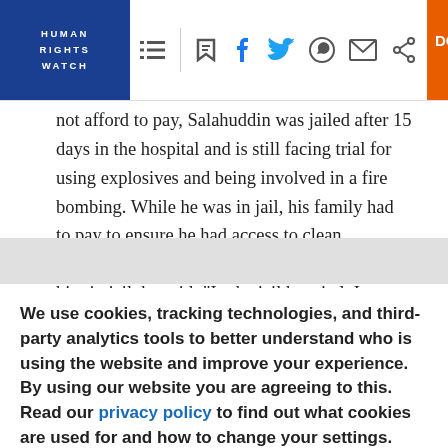HUMAN RIGHTS WATCH | DONATE NOW
not afford to pay, Salahuddin was jailed after 15 days in the hospital and is still facing trial for using explosives and being involved in a fire bombing. While he was in jail, his family had to pay to ensure he had access to clean bandages and painkillers. There were many like him in jail, he said: “In the jail hospital, I saw a lot of injured people. Most of them had been shot in the leg.”[64]
We use cookies, tracking technologies, and third-party analytics tools to better understand who is using the website and improve your experience. By using our website you are agreeing to this. Read our privacy policy to find out what cookies are used for and how to change your settings.
Accept | Other options